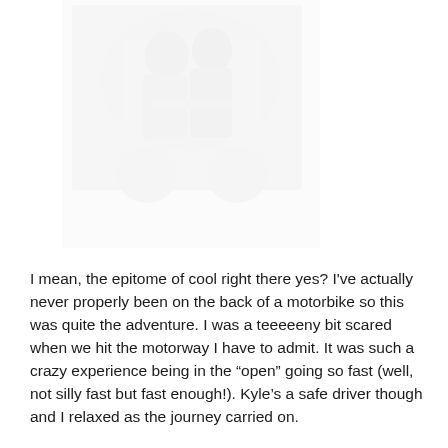[Figure (photo): A faded/washed-out photograph, likely showing two people on a motorbike, very light and barely visible against white background]
I mean, the epitome of cool right there yes? I've actually never properly been on the back of a motorbike so this was quite the adventure. I was a teeeeeny bit scared when we hit the motorway I have to admit. It was such a crazy experience being in the “open” going so fast (well, not silly fast but fast enough!). Kyle’s a safe driver though and I relaxed as the journey carried on.